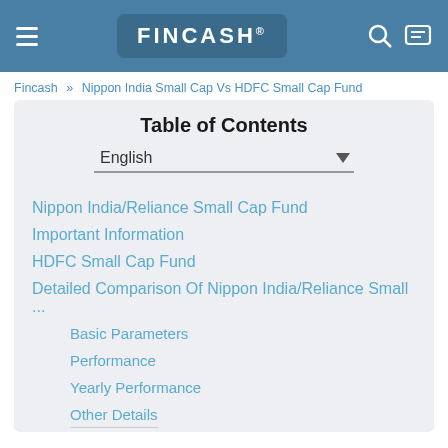FINCASH®
Fincash » Nippon India Small Cap Vs HDFC Small Cap Fund
Table of Contents
Nippon India/Reliance Small Cap Fund
Important Information
HDFC Small Cap Fund
Detailed Comparison Of Nippon India/Reliance Small ...
Basic Parameters
Performance
Yearly Performance
Other Details